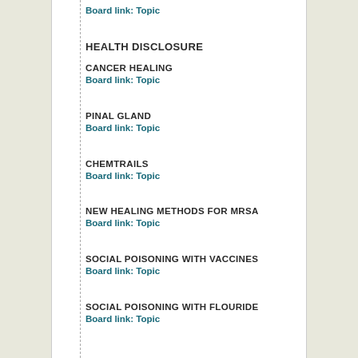Board link: Topic
HEALTH DISCLOSURE
CANCER HEALING
Board link: Topic
PINAL GLAND
Board link: Topic
CHEMTRAILS
Board link: Topic
NEW HEALING METHODS FOR MRSA
Board link: Topic
SOCIAL POISONING WITH VACCINES
Board link: Topic
SOCIAL POISONING WITH FLOURIDE
Board link: Topic